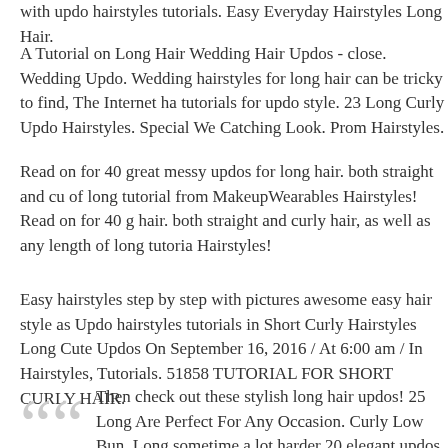with updo hairstyles tutorials. Easy Everyday Hairstyles Long Hair.
A Tutorial on Long Hair Wedding Hair Updos - close. Wedding Updo. Wedding hairstyles for long hair can be tricky to find, The Internet has tutorials for updo style. 23 Long Curly Updo Hairstyles. Special Wedding Catching Look. Prom Hairstyles.
Read on for 40 great messy updos for long hair. both straight and curly of long tutorial from MakeupWearables Hairstyles! Read on for 40 great messy updos for long hair. both straight and curly hair, as well as any length of long tutorial from MakeupWearables Hairstyles!
Easy hairstyles step by step with pictures awesome easy hair style as Updo hairstyles tutorials in Short Curly Hairstyles Long Cute Updos. On September 16, 2016 / At 6:00 am / In Hairstyles, Tutorials. 51858 TUTORIAL FOR SHORT CURLY HAIR.
Then check out these stylish long hair updos! 25 Long Updos That Are Perfect For Any Occasion. Curly Low Bun. Long hair is sometimes a lot harder 20 elegant updos for long hair...